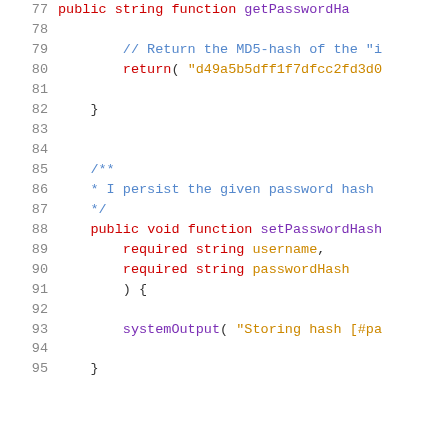Code listing showing lines 77–95 of a PHP/pseudo-code class with getPasswordHash and setPasswordHash functions
[Figure (screenshot): Source code editor view showing lines 77-95 with syntax highlighting. Keywords in red, identifiers/strings in orange, comments in blue, punctuation in dark. Shows getPasswordHash returning an MD5 hash string, and setPasswordHash function taking required string username and required string passwordHash parameters, with systemOutput call.]